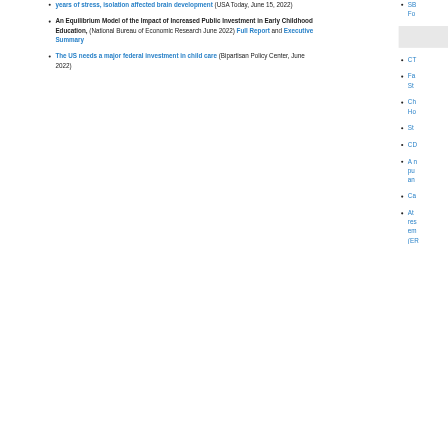years of stress, isolation affected brain development (USA Today, June 15, 2022)
An Equilibrium Model of the Impact of Increased Public Investment in Early Childhood Education, (National Bureau of Economic Research June 2022) Full Report and Executive Summary
The US needs a major federal investment in child care (Bipartisan Policy Center, June 2022)
SB... Fo...
CT...
Fa... St...
Ch... Ho...
St...
CD...
A n... pu... an...
Ca...
At ... res... em... (ER...